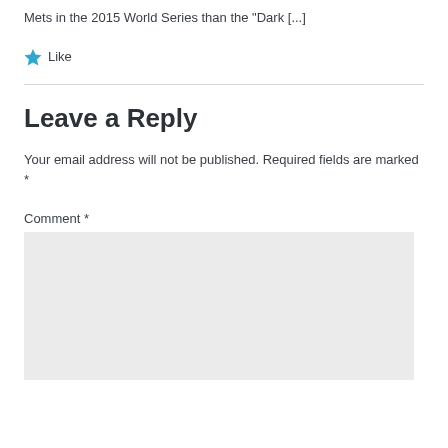Mets in the 2015 World Series than the "Dark [...]
Like
Leave a Reply
Your email address will not be published. Required fields are marked *
Comment *
[Figure (other): Comment input textarea (grey background box)]